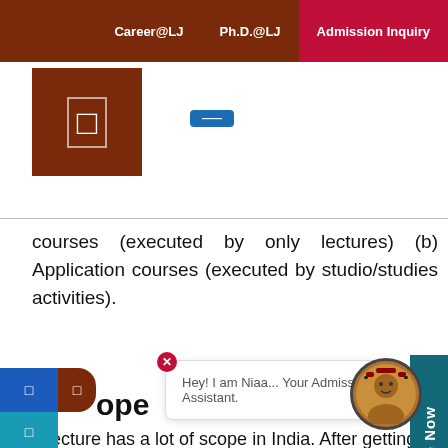Career@LJ   Ph.D.@LJ   Admission Inquiry
[Figure (logo): University logo box with white icon on dark red/brown background]
courses (executed by only lectures) (b) Application courses (executed by studio/studies activities).
ope
hitecture has a lot of scope in India. After getting your arch degree, you can either opt for higher studies or apply for jobs. Both lead to the development of specialized skill sets that help further enhance career prospects. There are several positions in architecture such as architectural dre ner, interior designer, section engineer, technologist, art
[Figure (screenshot): Chatbot popup with 'Hey! I am Niaa... Your Admission Assistant.' message and avatar]